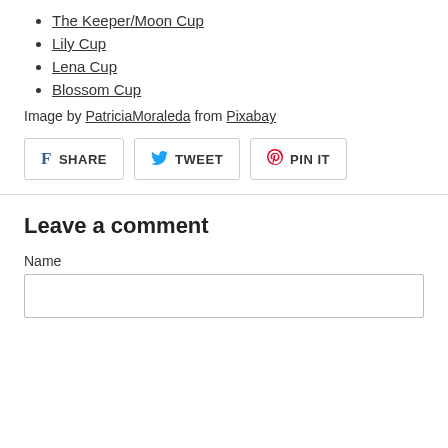The Keeper/Moon Cup
Lily Cup
Lena Cup
Blossom Cup
Image by PatriciaMoraleda from Pixabay
SHARE  TWEET  PIN IT
Leave a comment
Name